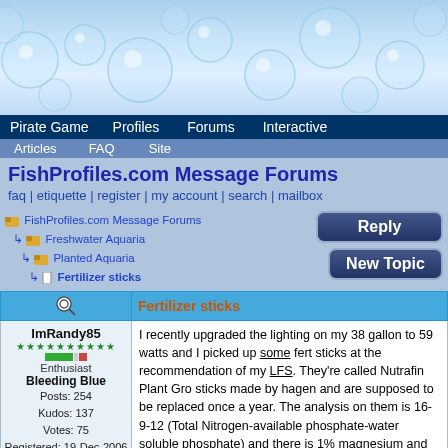[Figure (illustration): Blue bubble/water droplet decorative header banner]
Pirate Game | Profiles | Forums | Interactive | Articles | FAQ | Site
FishProfiles.com Message Forums
faq | etiquette | register | my account | search | mailbox
FishProfiles.com Message Forums > Freshwater Aquaria > Planted Aquaria > Fertilizer sticks
Fertilizer sticks
ImRandy85
Enthusiast
Bleeding Blue
Posts: 254
Kudos: 137
Votes: 75
Registered: 19-Dec-2006
I recently upgraded the lighting on my 38 gallon to 59 watts and I picked up some fert sticks at the recommendation of my LFS. They're called Nutrafin Plant Gro sticks made by hagen and are supposed to be replaced once a year. The analysis on them is 16-9-12 (Total Nitrogen-available phosphate-water soluble phosphate) and there is 1% magnesium and 2% sulfur and less than 1% Boron, Iron, Manganese, Molybdenum and Zinc. The plants I have are java fern, vals, anacharis and amazon sword. I plan on adding some anubias and some sort of